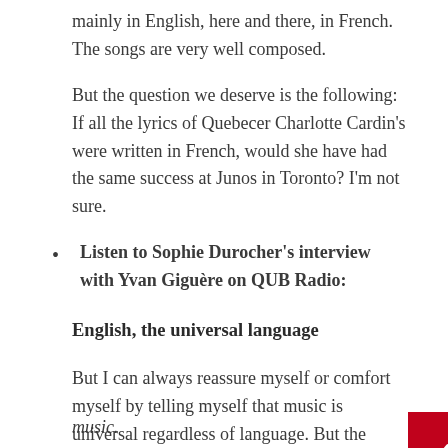mainly in English, here and there, in French. The songs are very well composed.
But the question we deserve is the following: If all the lyrics of Quebecer Charlotte Cardin's were written in French, would she have had the same success at Junos in Toronto? I'm not sure.
Listen to Sophie Durocher's interview with Yvan Giguère on QUB Radio:
English, the universal language
But I can always reassure myself or comfort myself by telling myself that music is universal regardless of language. But the English language seems to be more universal than anything else and especially in the field of music.